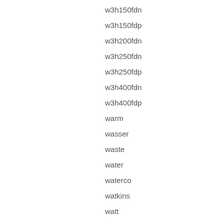w3h150fdn
w3h150fdp
w3h200fdn
w3h250fdn
w3h250fdp
w3h400fdn
w3h400fdp
warm
wasser
waste
water
waterco
watkins
watt
watts
waveheater
weatherking
webasto
weekend
whirlpoolheizung